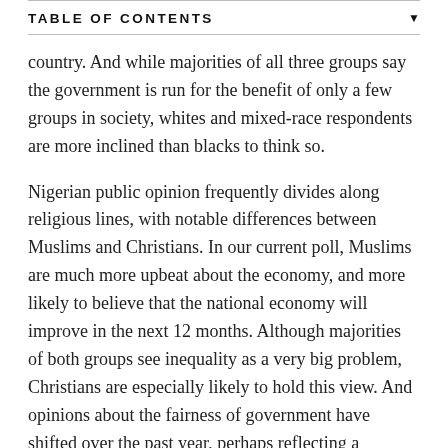TABLE OF CONTENTS
country. And while majorities of all three groups say the government is run for the benefit of only a few groups in society, whites and mixed-race respondents are more inclined than blacks to think so.
Nigerian public opinion frequently divides along religious lines, with notable differences between Muslims and Christians. In our current poll, Muslims are much more upbeat about the economy, and more likely to believe that the national economy will improve in the next 12 months. Although majorities of both groups see inequality as a very big problem, Christians are especially likely to hold this view. And opinions about the fairness of government have shifted over the past year, perhaps reflecting a transition of power from former President Goodluck Jonathan, a Christian, to current President Muhammadu Buhari, a Muslim. Among Nigeria’s Christians, 65% now say